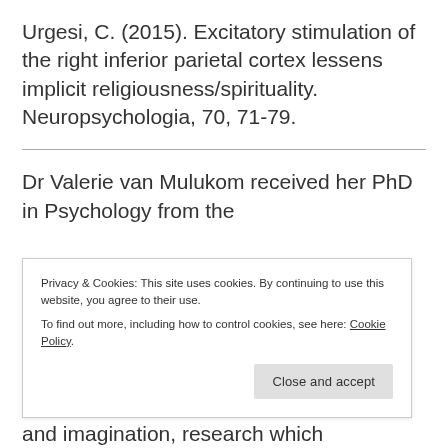Urgesi, C. (2015). Excitatory stimulation of the right inferior parietal cortex lessens implicit religiousness/spirituality. Neuropsychologia, 70, 71-79.
Dr Valerie van Mulukom received her PhD in Psychology from the
Privacy & Cookies: This site uses cookies. By continuing to use this website, you agree to their use.
To find out more, including how to control cookies, see here: Cookie Policy
and imagination, research which